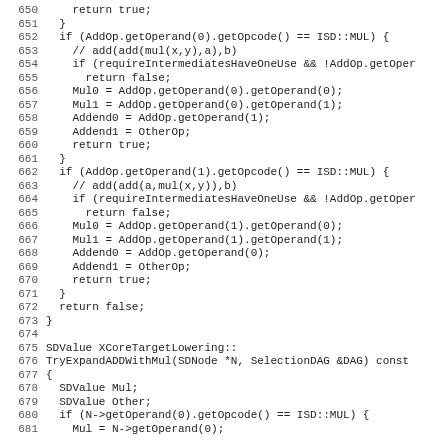Code listing lines 650-681, C++ source code for XCoreTargetLowering functions